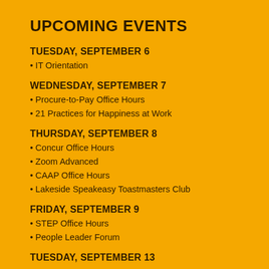UPCOMING EVENTS
TUESDAY, SEPTEMBER 6
IT Orientation
WEDNESDAY, SEPTEMBER 7
Procure-to-Pay Office Hours
21 Practices for Happiness at Work
THURSDAY, SEPTEMBER 8
Concur Office Hours
Zoom Advanced
CAAP Office Hours
Lakeside Speakeasy Toastmasters Club
FRIDAY, SEPTEMBER 9
STEP Office Hours
People Leader Forum
TUESDAY, SEPTEMBER 13